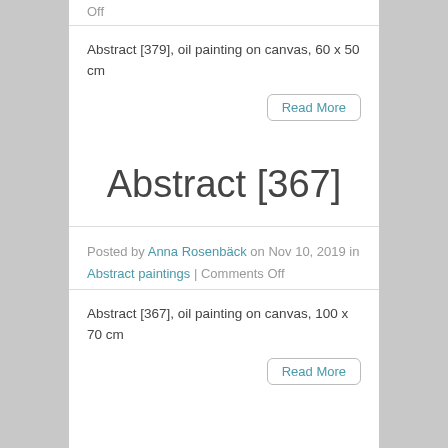Comments Off
Abstract [379], oil painting on canvas, 60 x 50 cm
Read More
Abstract [367]
Posted by Anna Rosenbäck on Nov 10, 2019 in Abstract paintings | Comments Off
Abstract [367], oil painting on canvas, 100 x 70 cm
Read More